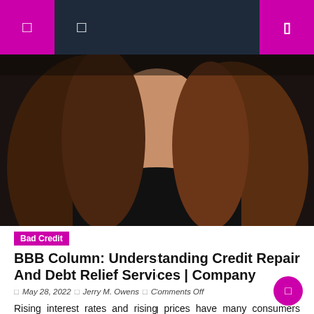Navigation bar with menu icons
[Figure (photo): Close-up photo of a woman with brown hair wearing a black top, shown from shoulders up against a dark background]
Bad Credit
BBB Column: Understanding Credit Repair And Debt Relief Services | Company
May 28, 2022  |  Jerry M. Owens  |  Comments Off
Rising interest rates and rising prices have many consumers concerned about their finances. So the promises of debt reduction, low-interest loans, and fixes to your credit score that arrive in the mailbox or email box are tempting. BBB reminds consumers to be aware of the difference and know what is the best way to get out of debt.